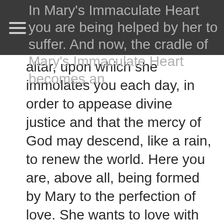In Mary's Immaculate Heart you are being helped by her to suffer. And now, the cradle of Mary's Immaculate Heart becomes an
altar, upon which she immolates you each day, in order to appease divine justice and that the mercy of God may descend, like a rain, to renew the world. Here you are, above all, being formed by Mary to the perfection of love. She wants to love with your heart, to gaze with your eyes, to console and encourage with your lips, to assist with your hands, to walk with your feet, to follow your bloodied footprints and to suffer with your crucified body.